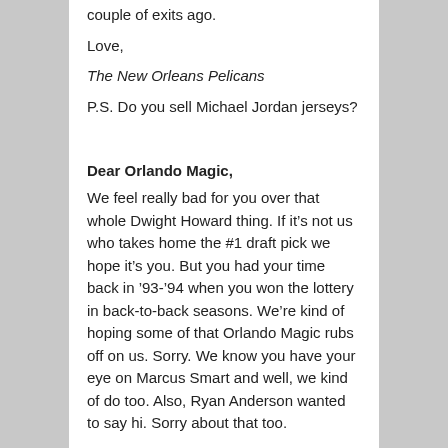couple of exits ago.
Love,
The New Orleans Pelicans
P.S. Do you sell Michael Jordan jerseys?
Dear Orlando Magic,
We feel really bad for you over that whole Dwight Howard thing. If it’s not us who takes home the #1 draft pick we hope it’s you. But you had your time back in ’93-’94 when you won the lottery in back-to-back seasons. We’re kind of hoping some of that Orlando Magic rubs off on us. Sorry. We know you have your eye on Marcus Smart and well, we kind of do too. Also, Ryan Anderson wanted to say hi. Sorry about that too.
Love,
The New Orleans Pelicans
P.S. The New Orleans Voodoo beat the Orlando Predators in week 1 of Arena Football. Sorry again.
Dear Los Angeles Lakers,